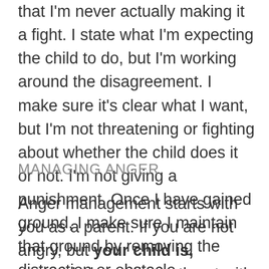that I'm never actually making it a fight. I state what I'm expecting the child to do, but I'm working around the disagreement. I make sure it's clear what I want, but I'm not threatening or fighting about whether the child does it or not. I'm not giving a punishment. Once I have gained ground, I make sure I maintain that ground by removing the distraction or obstacle.
MANAGING ANGER
Anger management starts with you as a parent. If you are not angry, but your child is, counterbalance the outburst with love and